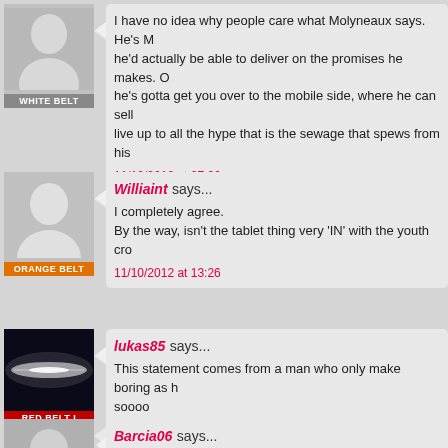I have no idea why people care what Molyneaux says. He's M... he'd actually be able to deliver on the promises he makes. O... he's gotta get you over to the mobile side, where he can sell... live up to all the hype that is the sewage that spews from his...
11/10/2012 at 07:36
Williaint says...
I completely agree.
By the way, isn't the tablet thing very 'IN' with the youth cro...
11/10/2012 at 13:26
lukas85 says...
This statement comes from a man who only make boring as h... soooo
11/10/2012 at 07:41
Barcia06 says...